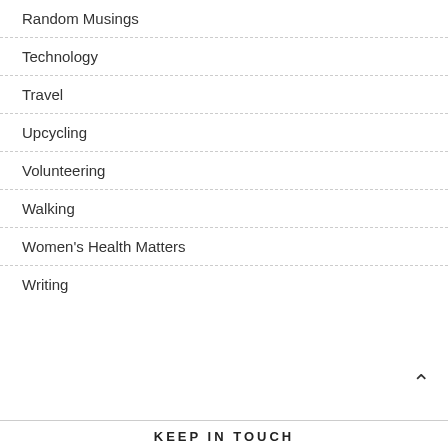Random Musings
Technology
Travel
Upcycling
Volunteering
Walking
Women's Health Matters
Writing
KEEP IN TOUCH